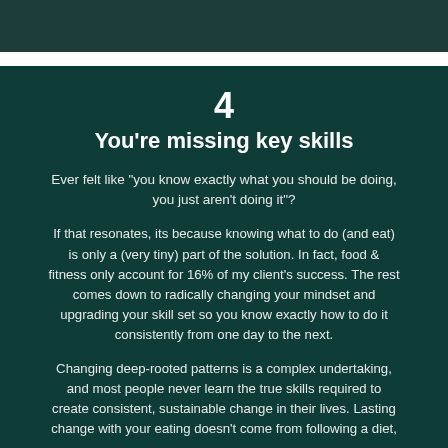4
You're missing key skills
Ever felt like "you know exactly what you should be doing, you just aren't doing it"?
If that resonates, its because knowing what to do (and eat) is only a (very tiny) part of the solution. In fact, food & fitness only account for 16% of my client's success. The rest comes down to radically changing your mindset and upgrading your skill set so you know exactly how to do it consistently from one day to the next.
Changing deep-rooted patterns is a complex undertaking, and most people never learn the true skills required to create consistent, sustainable change in their lives. Lasting change with your eating doesn't come from following a diet,